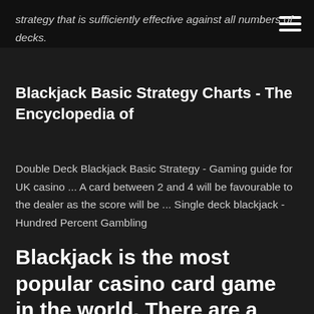strategy that is sufficiently effective against all numbers of decks.
Blackjack Basic Strategy Charts - The Encyclopedia of
Double Deck Blackjack Basic Strategy - Gaming guide for UK casino ... A card between 2 and 4 will be favourable to the dealer as the score will be ... Single deck blackjack - Hundred Percent Gambling
Blackjack is the most popular casino card game in the world. There are a number of reasons for this, it is easy to learn, it is